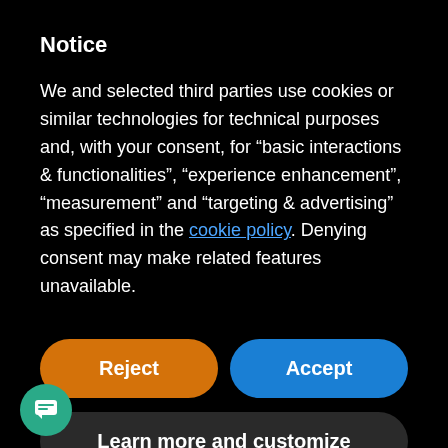Notice
We and selected third parties use cookies or similar technologies for technical purposes and, with your consent, for “basic interactions & functionalities”, “experience enhancement”, “measurement” and “targeting & advertising” as specified in the cookie policy. Denying consent may make related features unavailable.
Reject
Accept
Learn more and customize
APRIL
World Health Day
Focus on urbanization and health (Worldwide, 7 April 2010)
UNFCCC Meeting